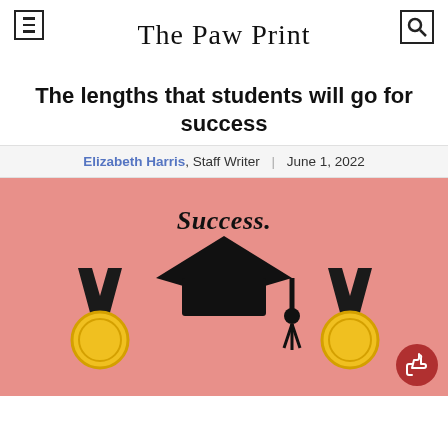The Paw Print
The lengths that students will go for success
Elizabeth Harris, Staff Writer | June 1, 2022
[Figure (illustration): Pink background illustration with the italic bold text 'Success.' at the top center, two gold medal icons on the left and right sides, a black graduation cap icon in the center, and a dark red thumbs-up button in the bottom right corner.]